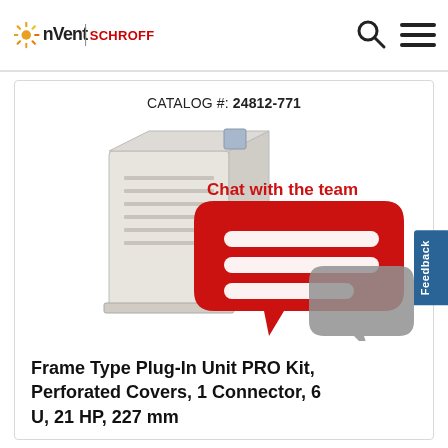[Figure (logo): nVent SCHROFF logo with sunburst icon and red SCHROFF text]
CATALOG #: 24812-771
[Figure (photo): Frame Type Plug-In Unit PRO Kit product photo, beige/cream colored enclosure module, with a red chat bubble overlay showing 'Chat with the team' text and a gray secondary chat bubble]
Frame Type Plug-In Unit PRO Kit, Perforated Covers, 1 Connector, 6 U, 21 HP, 227 mm